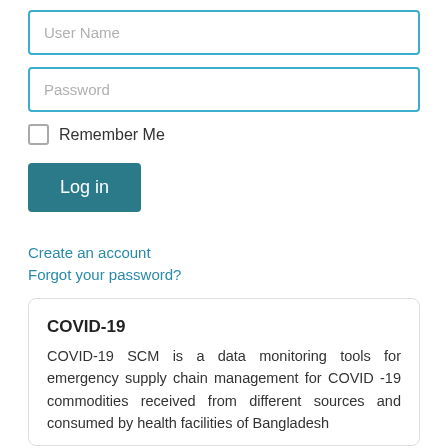[Figure (screenshot): Login form with User Name input field (highlighted with blue border)]
[Figure (screenshot): Password input field (highlighted with blue border)]
Remember Me
[Figure (screenshot): Log in button (dark teal)]
Create an account
Forgot your password?
COVID-19
COVID-19 SCM is a data monitoring tools for emergency supply chain management for COVID -19 commodities received from different sources and consumed by health facilities of Bangladesh